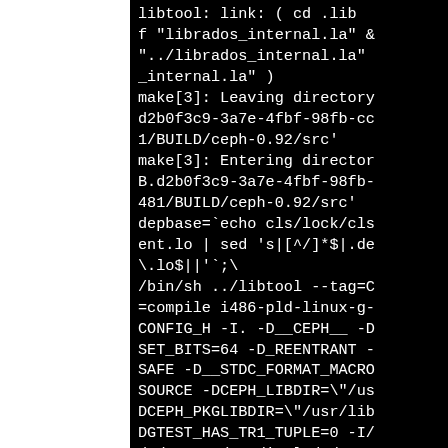[Figure (screenshot): Terminal/build log output showing libtool link and make commands for ceph-0.92 build process, with compiler flags and directory messages. Black background with white monospace text, partially cropped on right side. Left portion of page is white/blank.]